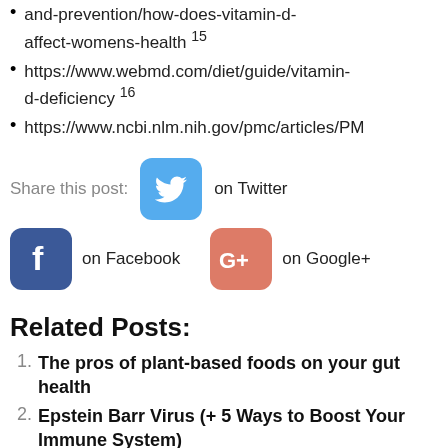and-prevention/how-does-vitamin-d-affect-womens-health 15
https://www.webmd.com/diet/guide/vitamin-d-deficiency 16
https://www.ncbi.nlm.nih.gov/pmc/articles/PM…
[Figure (logo): Twitter bird icon on blue rounded square background]
Share this post: on Twitter
[Figure (logo): Facebook f icon on blue rounded square background]
on Facebook
[Figure (logo): Google+ icon on salmon/orange rounded square background]
on Google+
Related Posts:
The pros of plant-based foods on your gut health
Epstein Barr Virus (+ 5 Ways to Boost Your Immune System)
Can Apples help Cholesterol?
Change of life